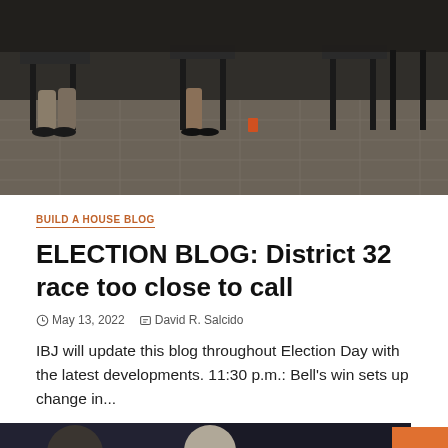[Figure (photo): Dark-toned photo showing people seated on chairs in what appears to be an indoor event or meeting space, viewed from a low angle showing legs, chairs, and a tiled floor.]
BUILD A HOUSE BLOG
ELECTION BLOG: District 32 race too close to call
May 13, 2022   David R. Salcido
IBJ will update this blog throughout Election Day with the latest developments. 11:30 p.m.: Bell's win sets up change in...
[Figure (photo): Dark photo showing two people, likely at an election night event, with a '5 min read' badge overlay in the lower left.]